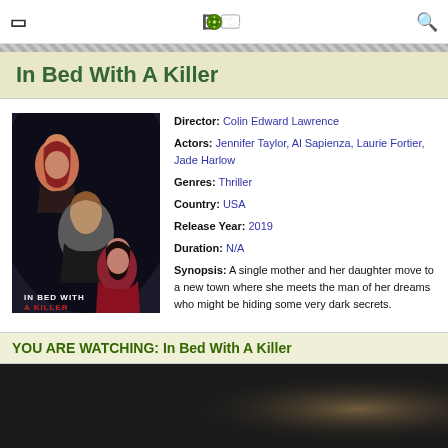PutLocker
In Bed With A Killer
[Figure (photo): Movie poster for 'In Bed With A Killer' showing three people — a woman in the top left, a man in the center, and a woman in red at the bottom right, with the title text in the lower left.]
Director: Colin Edward Lawrence
Actors: Jennifer Taylor, Al Sapienza, Laurie Fortier, Jade Harlow
Genres: Thriller
Country: USA
Release Year: 2019
Duration: N/A
Synopsis: A single mother and her daughter move to a new town where she meets the man of her dreams who might be hiding some very dark secrets.
YOU ARE WATCHING: In Bed With A Killer
[Figure (screenshot): Dark video player area with a subtle warm gradient visible at the right side.]